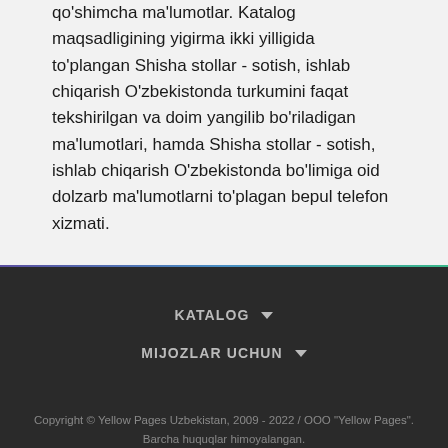qo'shimcha ma'lumotlar. Katalog maqsadligining yigirma ikki yilligida to'plangan Shisha stollar - sotish, ishlab chiqarish O'zbekistonda turkumini faqat tekshirilgan va doim yangilib bo'riladigan ma'lumotlari, hamda Shisha stollar - sotish, ishlab chiqarish O'zbekistonda bo'limiga oid dolzarb ma'lumotlarni to'plagan bepul telefon xizmati.
KATALOG ▾
MIJOZLAR UCHUN ▾
Copyright © Yellow Pages Uzbekistan, 2009 - 2022 / OOO "Yellow Pages". Barcha huquqlar himoyalangan.